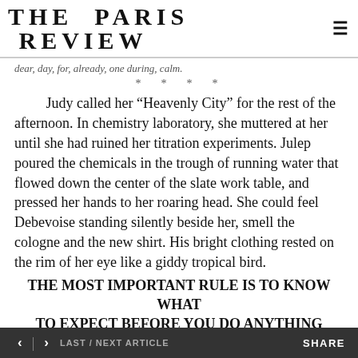THE PARIS REVIEW
dear, day, for, already, one during, calm.
* * * *
Judy called her “Heavenly City” for the rest of the afternoon. In chemistry laboratory, she muttered at her until she had ruined her titration experiments. Julep poured the chemicals in the trough of running water that flowed down the center of the slate work table, and pressed her hands to her roaring head. She could feel Debevoise standing silently beside her, smell the cologne and the new shirt. His bright clothing rested on the rim of her eye like a giddy tropical bird.
THE MOST IMPORTANT RULE IS TO KNOW WHAT TO EXPECT BEFORE YOU DO ANYTHING IN THE LABORATORY
< | > LAST / NEXT ARTICLE   SHARE